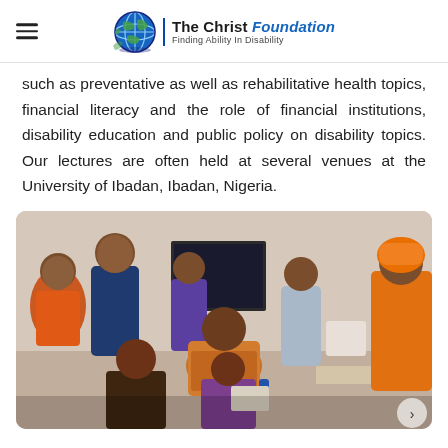The Christ Foundation — Finding Ability In Disability
such as preventative as well as rehabilitative health topics, financial literacy and the role of financial institutions, disability education and public policy on disability topics. Our lectures are often held at several venues at the University of Ibadan, Ibadan, Nigeria.
[Figure (photo): Group of people at a seminar or meeting venue, some seated and some standing, dressed in colorful African attire, at what appears to be the University of Ibadan.]